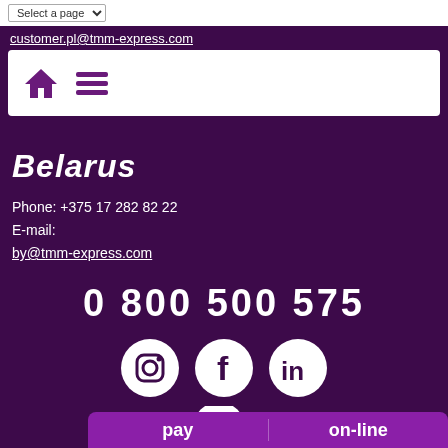Select a page
customer.pl@tmm-express.com
Belarus
Phone: +375 17 282 82 22
E-mail:
by@tmm-express.com
0 800 500 575
[Figure (logo): Social media icons: Instagram, Facebook, LinkedIn — white circles on dark purple background]
[Figure (logo): TMM Express logo — T, M, M letters in white circles connected by lines, with 'express' text below]
© TMM Express 2023
pay   on-line